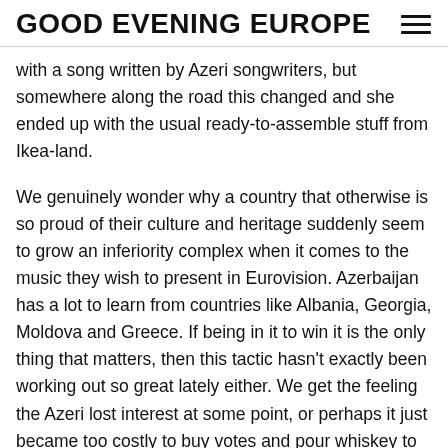GOOD EVENING EUROPE
with a song written by Azeri songwriters, but somewhere along the road this changed and she ended up with the usual ready-to-assemble stuff from Ikea-land.
We genuinely wonder why a country that otherwise is so proud of their culture and heritage suddenly seem to grow an inferiority complex when it comes to the music they wish to present in Eurovision. Azerbaijan has a lot to learn from countries like Albania, Georgia, Moldova and Greece. If being in it to win it is the only thing that matters, then this tactic hasn't exactly been working out so great lately either. We get the feeling the Azeri lost interest at some point, or perhaps it just became too costly to buy votes and pour whiskey to the accredited press.